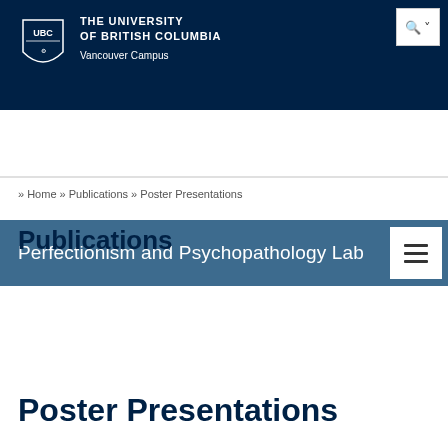THE UNIVERSITY OF BRITISH COLUMBIA Vancouver Campus
Perfectionism and Psychopathology Lab
» Home » Publications » Poster Presentations
Publications
Books
Poster Presentations
Article Request Form
Poster Presentations